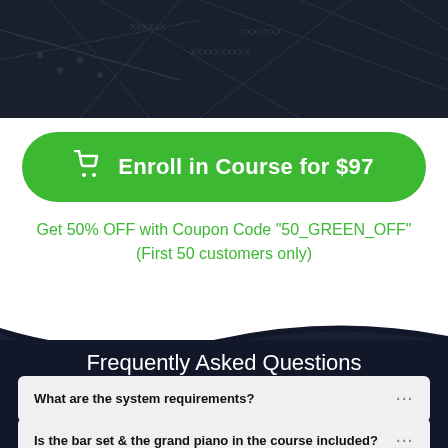[Figure (illustration): Dark navy background with faint map/grid lines overlay]
Enroll in Course for $97
Get 50% OFF with Coupon Code "50_GREEN_OFF" (First 50 customers only)
Frequently Asked Questions
What are the system requirements?
Is the bar set & the grand piano in the course included?